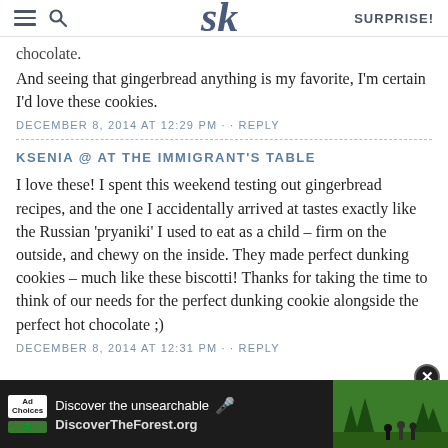SK | SURPRISE!
chocolate.
And seeing that gingerbread anything is my favorite, I'm certain I'd love these cookies.
DECEMBER 8, 2014 AT 12:29 PM · · REPLY
KSENIA @ AT THE IMMIGRANT'S TABLE
I love these! I spent this weekend testing out gingerbread recipes, and the one I accidentally arrived at tastes exactly like the Russian 'pryaniki' I used to eat as a child – firm on the outside, and chewy on the inside. They made perfect dunking cookies – much like these biscotti! Thanks for taking the time to think of our needs for the perfect dunking cookie alongside the perfect hot chocolate ;)
DECEMBER 8, 2014 AT 12:31 PM · · REPLY
[Figure (screenshot): Ad banner: Discover the unsearchable / DiscoverTheForest.org with forest background image and close button]